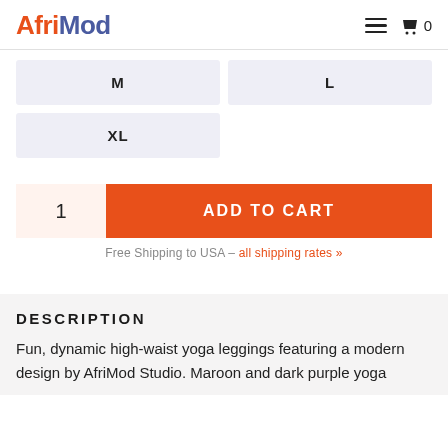AfriMod
| M | L |
| XL |  |
1
ADD TO CART
Free Shipping to USA – all shipping rates »
DESCRIPTION
Fun, dynamic high-waist yoga leggings featuring a modern design by AfriMod Studio. Maroon and dark purple yoga